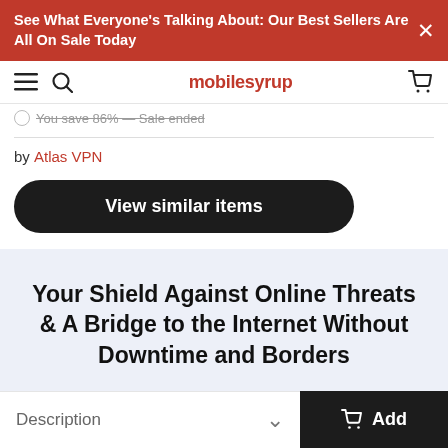See What Everyone's Talking About: Our Best Sellers Are All On Sale Today
mobilesyrup
You save 86% — Sale ended
by Atlas VPN
View similar items
Your Shield Against Online Threats & A Bridge to the Internet Without Downtime and Borders
Description
Add